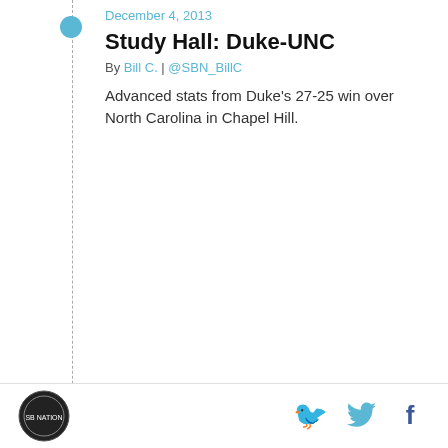December 4, 2013
Study Hall: Duke-UNC
By Bill C. | @SBN_BillC
Advanced stats from Duke's 27-25 win over North Carolina in Chapel Hill.
December 4, 2013
Study Hall: Georgia-Tech
By Bill C. | @SBN_BillC
Advanced stats from Georgia's 41-34 comeback win over Georgia Tech.
December 4, 2013
Study Hall: Iron Bowl